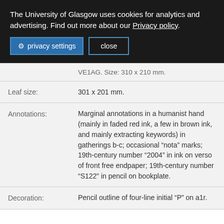The University of Glasgow uses cookies for analytics and advertising. Find out more about our Privacy policy.
privacy settings   close
|  | VE1AG. Size: 310 x 210 mm. |
| Leaf size: | 301 x 201 mm. |
| Annotations: | Marginal annotations in a humanist hand (mainly in faded red ink, a few in brown ink, and mainly extracting keywords) in gatherings b-c; occasional “nota” marks; 19th-century number “2004” in ink on verso of front free endpaper; 19th-century number “S122” in pencil on bookplate. |
| Decoration: | Pencil outline of four-line initial “P” on a1r. |